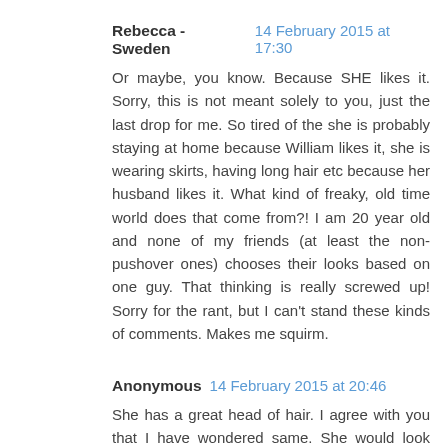Rebecca - Sweden  14 February 2015 at 17:30
Or maybe, you know. Because SHE likes it. Sorry, this is not meant solely to you, just the last drop for me. So tired of the she is probably staying at home because William likes it, she is wearing skirts, having long hair etc because her husband likes it. What kind of freaky, old time world does that come from?! I am 20 year old and none of my friends (at least the non-pushover ones) chooses their looks based on one guy. That thinking is really screwed up! Sorry for the rant, but I can't stand these kinds of comments. Makes me squirm.
Anonymous  14 February 2015 at 20:46
She has a great head of hair. I agree with you that I have wondered same. She would look great and have same "look" with her hair shoulder length? She could still pull it up in a